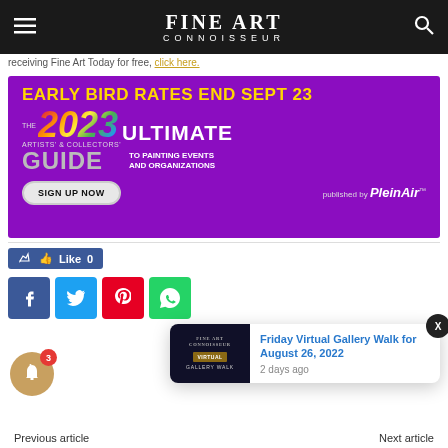FINE ART CONNOISSEUR
receiving Fine Art Today for free, click here.
[Figure (infographic): Purple advertisement banner: EARLY BIRD RATES END SEPT 23 / THE 2023 ULTIMATE ARTISTS' & COLLECTORS' GUIDE TO PAINTING EVENTS AND ORGANIZATIONS / SIGN UP NOW / published by PleinAir]
Like 0
[Figure (infographic): Social share icons: Facebook, Twitter, Pinterest, WhatsApp]
[Figure (infographic): Notification popup: Friday Virtual Gallery Walk for August 26, 2022 / 2 days ago]
Previous article    Next article